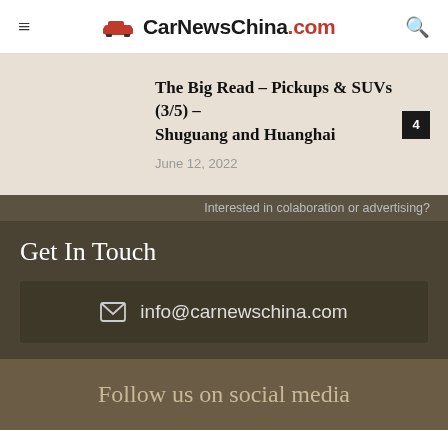CarNewsChina.com
The Big Read – Pickups & SUVs (3/5) – Shuguang and Huanghai
June 12, 2022
Interested in colaboration or advertising?
Get In Touch
info@carnewschina.com
Follow us on social media